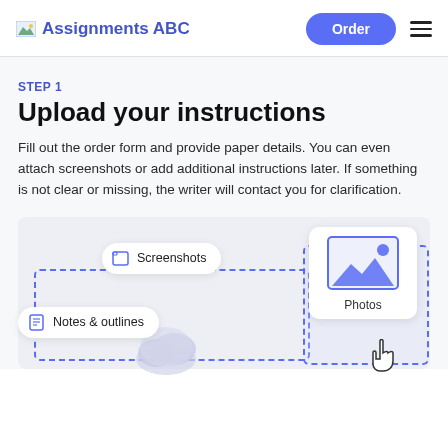Assignments ABC  Order
STEP 1
Upload your instructions
Fill out the order form and provide paper details. You can even attach screenshots or add additional instructions later. If something is not clear or missing, the writer will contact you for clarification.
[Figure (screenshot): Illustration showing file upload interface with Screenshots pill, Notes & outlines pill, Photos card with image icon, dashed drop zone borders, partial cloud upload icon, and a hand cursor icon]